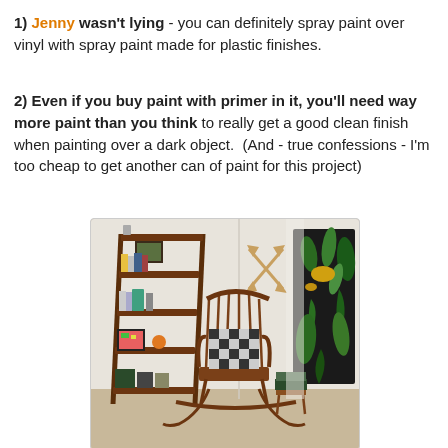1) Jenny wasn't lying - you can definitely spray paint over vinyl with spray paint made for plastic finishes.
2) Even if you buy paint with primer in it, you'll need way more paint than you think to really get a good clean finish when painting over a dark object. (And - true confessions - I'm too cheap to get another can of paint for this project)
[Figure (photo): Interior room photo showing a wooden rocking chair with a black and white checkered pillow, a leaning ladder bookshelf on the left filled with books, framed photos, and decorative objects, crossed arrow wall decor on the back wall, and a dark botanical art print leaning against the right wall.]